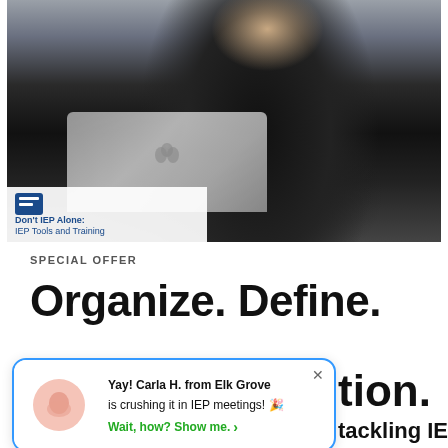[Figure (photo): Woman dressed in black sitting on a sofa using an Apple MacBook laptop, with an overlay banner showing 'Don't IEP Alone: IEP Tools and Training']
SPECIAL OFFER
Organize. Define.
[Figure (infographic): Notification popup with blue border: 'Yay! Carla H. from Elk Grove is crushing it in IEP meetings! Wait, how? Show me.' with a pink icon and close X button]
tion.
tackling IEPs